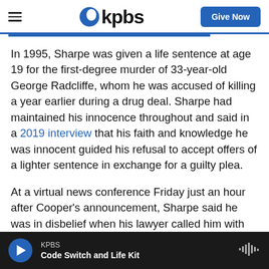KPBS — Give Now
In 1995, Sharpe was given a life sentence at age 19 for the first-degree murder of 33-year-old George Radcliffe, whom he was accused of killing a year earlier during a drug deal. Sharpe had maintained his innocence throughout and said in a 2019 interview that his faith and knowledge he was innocent guided his refusal to accept offers of a lighter sentence in exchange for a guilty plea.
At a virtual news conference Friday just an hour after Cooper's announcement, Sharpe said he was in disbelief when his lawyer called him with the
KPBS — Code Switch and Life Kit